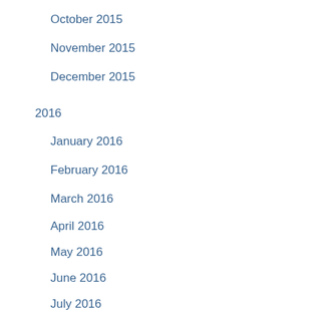October 2015
November 2015
December 2015
2016
January 2016
February 2016
March 2016
April 2016
May 2016
June 2016
July 2016
August 2016
September 2016